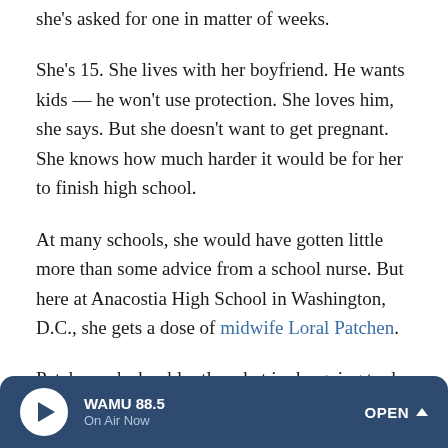she's asked for one in matter of weeks.
She's 15. She lives with her boyfriend. He wants kids — he won't use protection. She loves him, she says. But she doesn't want to get pregnant. She knows how much harder it would be for her to finish high school.
At many schools, she would have gotten little more than some advice from a school nurse. But here at Anacostia High School in Washington, D.C., she gets a dose of midwife Loral Patchen.
Patchen asks her bluntly, what is she going to do about it? Because one of these days, the test is going to show a positive.
WAMU 88.5 On Air Now OPEN